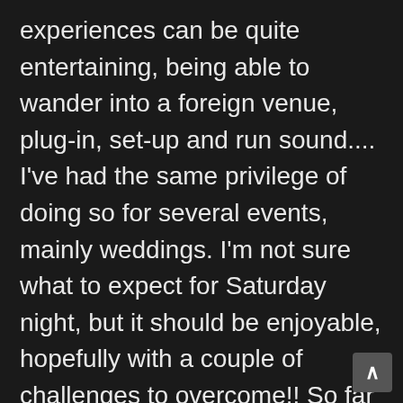experiences can be quite entertaining, being able to wander into a foreign venue, plug-in, set-up and run sound.... I've had the same privilege of doing so for several events, mainly weddings. I'm not sure what to expect for Saturday night, but it should be enjoyable, hopefully with a couple of challenges to overcome!! So far all I know is that I'll need at least 2 microphones, possibly 3; one for the Archbishop, one for questions to be asked from the floor, and then possibly another general purpose mic for mc and bible reading. Throw in a